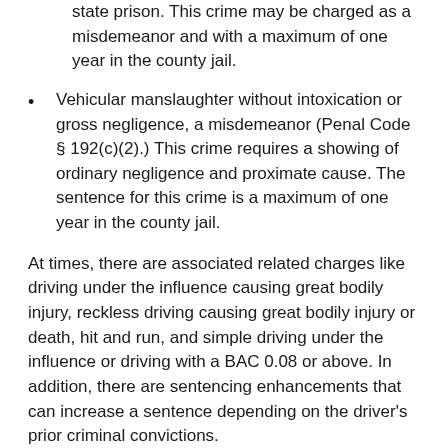state prison. This crime may be charged as a misdemeanor and with a maximum of one year in the county jail.
Vehicular manslaughter without intoxication or gross negligence, a misdemeanor (Penal Code § 192(c)(2).) This crime requires a showing of ordinary negligence and proximate cause. The sentence for this crime is a maximum of one year in the county jail.
At times, there are associated related charges like driving under the influence causing great bodily injury, reckless driving causing great bodily injury or death, hit and run, and simple driving under the influence or driving with a BAC 0.08 or above. In addition, there are sentencing enhancements that can increase a sentence depending on the driver's prior criminal convictions.